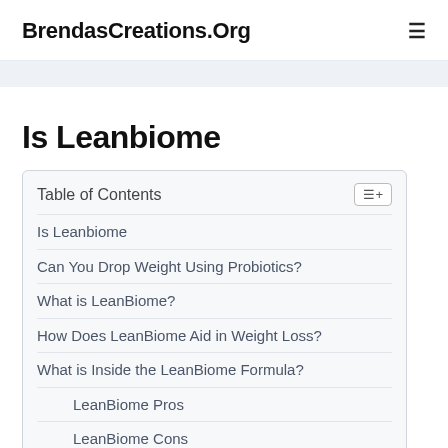BrendasCreations.Org
Is Leanbiome
Table of Contents
Is Leanbiome
Can You Drop Weight Using Probiotics?
What is LeanBiome?
How Does LeanBiome Aid in Weight Loss?
What is Inside the LeanBiome Formula?
LeanBiome Pros
LeanBiome Cons
Where to Acquire LeanBiome? Is it Cost effective?
LeanBiome Reimbursement Policy